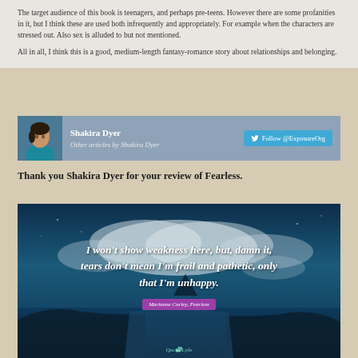The target audience of this book is teenagers, and perhaps pre-teens. However there are some profanities in it, but I think these are used both infrequently and appropriately. For example when the characters are stressed out. Also sex is alluded to but not mentioned.
All in all, I think this is a good, medium-length fantasy-romance story about relationships and belonging.
[Figure (photo): Author photo and bio bar showing Shakira Dyer with Twitter follow button for @ExposureOrg and link to other articles]
Thank you Shakira Dyer for your review of Fearless.
[Figure (photo): Dark teal landscape photo with quote overlay: 'I won't show weakness here, but, damn it, tears don't mean I'm frail and pathetic, only that I'm unhappy.' attributed to Marianne Curley, Fearless. QuotesLyfe watermark at bottom.]